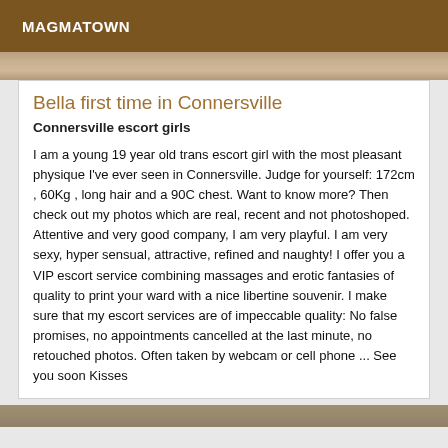MAGMATOWN
[Figure (photo): Partial photo strip showing an outdoor scene with muted brown and beige tones]
Bella first time in Connersville
Connersville escort girls
I am a young 19 year old trans escort girl with the most pleasant physique I've ever seen in Connersville. Judge for yourself: 172cm , 60Kg , long hair and a 90C chest. Want to know more? Then check out my photos which are real, recent and not photoshoped. Attentive and very good company, I am very playful. I am very sexy, hyper sensual, attractive, refined and naughty! I offer you a VIP escort service combining massages and erotic fantasies of quality to print your ward with a nice libertine souvenir. I make sure that my escort services are of impeccable quality: No false promises, no appointments cancelled at the last minute, no retouched photos. Often taken by webcam or cell phone ... See you soon Kisses
[Figure (photo): Partial photo strip at the bottom of the page]